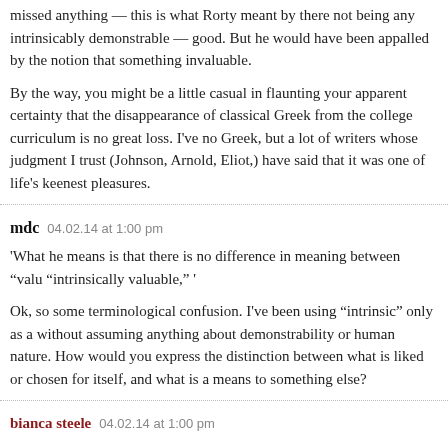missed anything — this is what Rorty meant by there not being any intrinsically demonstrable — good. But he would have been appalled by the notion that something invaluable.
By the way, you might be a little casual in flaunting your apparent certainty that the disappearance of classical Greek from the college curriculum is no great loss. I've no Greek, but a lot of writers whose judgment I trust (Johnson, Arnold, Eliot,) have said that it was one of life's keenest pleasures.
mdc   04.02.14 at 1:00 pm
'What he means is that there is no difference in meaning between “valued” and “intrinsically valuable,” '
Ok, so some terminological confusion. I’ve been using “intrinsic” only as a without assuming anything about demonstrability or human nature. How would you express the distinction between what is liked or chosen for itself, and what is a means to something else?
bianca steele   04.02.14 at 1:00 pm